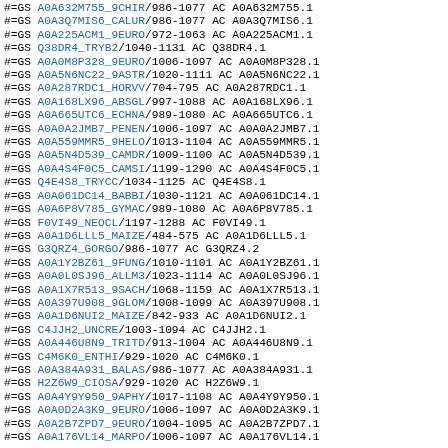#=GS A0A632M755_9CHIR/986-1077   AC A0A632M755.1
#=GS A0A3Q7MIS6_CALUR/986-1077   AC A0A3Q7MIS6.1
#=GS A0A225ACM1_9EURO/972-1063   AC A0A225ACM1.1
#=GS Q38DR4_TRYB2/1040-1131   AC Q38DR4.1
#=GS A0A0M8P328_9EURO/1006-1097   AC A0A0M8P328.1
#=GS A0A5N6NC22_9ASTR/1020-1111   AC A0A5N6NC22.1
#=GS A0A287RDC1_HORVV/704-795   AC A0A287RDC1.1
#=GS A0A168LX96_ABSGL/997-1088   AC A0A168LX96.1
#=GS A0A665UTC6_ECHNA/989-1080   AC A0A665UTC6.1
#=GS A0A0A2JMB7_PENEN/1006-1097   AC A0A0A2JMB7.1
#=GS A0A559MMR5_9HELO/1013-1104   AC A0A559MMR5.1
#=GS A0A5N4D539_CAMDR/1009-1100   AC A0A5N4D539.1
#=GS A0A4S4F0C5_CAMSI/1199-1290   AC A0A4S4F0C5.1
#=GS Q4E4S8_TRYCC/1034-1125   AC Q4E4S8.1
#=GS A0A061DC14_BABBI/1030-1121   AC A0A061DC14.1
#=GS A0A6P8V785_GYMAC/989-1080   AC A0A6P8V785.1
#=GS F0VI49_NEOCL/1197-1288   AC F0VI49.1
#=GS A0A1D6LLL5_MAIZE/484-575   AC A0A1D6LLL5.1
#=GS G3QRZ4_GORGO/986-1077   AC G3QRZ4.2
#=GS A0A1Y2BZ61_9FUNG/1010-1101   AC A0A1Y2BZ61.1
#=GS A0A0L0SJ96_ALLM3/1023-1114   AC A0A0L0SJ96.1
#=GS A0A1X7R513_9SACH/1068-1159   AC A0A1X7R513.1
#=GS A0A397U908_9GLOM/1008-1099   AC A0A397U908.1
#=GS A0A1D6NUI2_MAIZE/842-933   AC A0A1D6NUI2.1
#=GS C4JJH2_UNCRE/1003-1094   AC C4JJH2.1
#=GS A0A446U8N9_TRITD/913-1004   AC A0A446U8N9.1
#=GS C4M6K0_ENTHI/929-1020   AC C4M6K0.1
#=GS A0A384A931_BALAS/986-1077   AC A0A384A931.1
#=GS H2Z6W9_CIOSA/929-1020   AC H2Z6W9.1
#=GS A0A4Y9Y950_9APHY/1017-1108   AC A0A4Y9Y950.1
#=GS A0A0D2A3K9_9EURO/1006-1097   AC A0A0D2A3K9.1
#=GS A0A2B7ZPD7_9EURO/1004-1095   AC A0A2B7ZPD7.1
#=GS A0A176VL14_MARPO/1006-1097   AC A0A176VL14.1